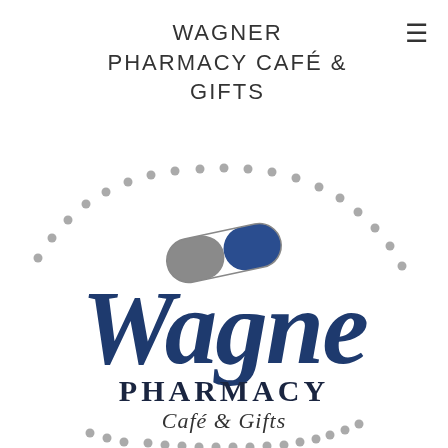WAGNER PHARMACY CAFÉ & GIFTS
[Figure (logo): Wagner Pharmacy Café & Gifts logo: a pill capsule icon (grey and blue) above large serif 'Wagne' text in dark blue, with 'PHARMACY' below in dark navy small-caps, 'Café & Gifts' in lighter serif, all surrounded by a dotted arc border]